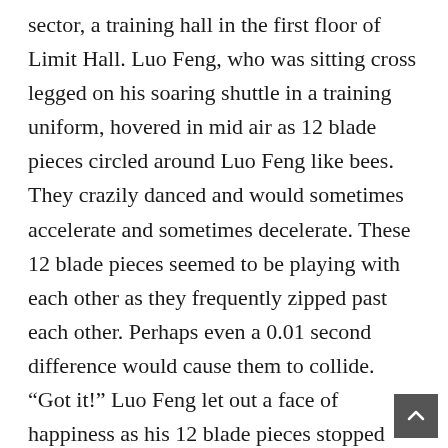sector, a training hall in the first floor of Limit Hall. Luo Feng, who was sitting cross legged on his soaring shuttle in a training uniform, hovered in mid air as 12 blade pieces circled around Luo Feng like bees. They crazily danced and would sometimes accelerate and sometimes decelerate. These 12 blade pieces seemed to be playing with each other as they frequently zipped past each other. Perhaps even a 0.01 second difference would cause them to collide. “Got it!” Luo Feng let out a face of happiness as his 12 blade pieces stopped and hovered in the air. Luo Feng lowered his head and looked at his tactical communications watch that was currently acting as a stopwatch–‘3.08’ flashed past. “Pass!” “The second drawing of the ��Celestial Deity Catalog�� is finally complete” Luo Feng was extremely happy, “Next, I’ll start practicing the third drawing of the